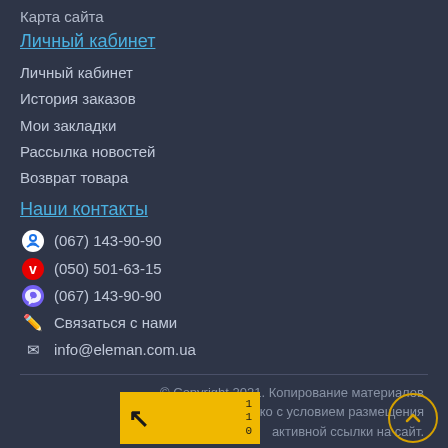Карта сайта
Личный кабинет
Личный кабинет
История заказов
Мои закладки
Рассылка новостей
Возврат товара
Наши контакты
(067) 143-90-90
(050) 501-63-15
(067) 143-90-90
Связаться с нами
info@eleman.com.ua
© Copyright 2021. Копирование материалов разрешается только с условием размещения активной ссылки на сайт.